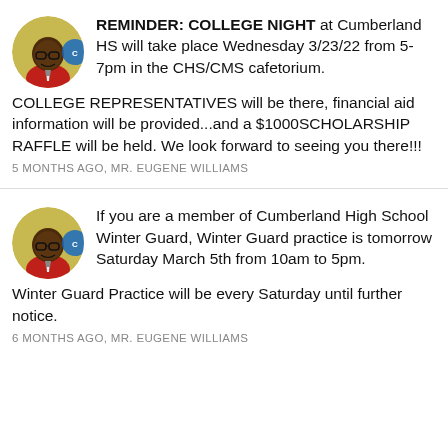[Figure (photo): Circular avatar photo of a man wearing a red shirt and glasses, on a yellow/green background]
REMINDER: COLLEGE NIGHT at Cumberland HS will take place Wednesday 3/23/22 from 5-7pm in the CHS/CMS cafetorium. COLLEGE REPRESENTATIVES will be there, financial aid information will be provided...and a $1000SCHOLARSHIP RAFFLE will be held. We look forward to seeing you there!!!
5 MONTHS AGO, MR. EUGENE WILLIAMS
[Figure (photo): Circular avatar photo of a man wearing a red shirt and glasses, on a yellow/green background]
If you are a member of Cumberland High School Winter Guard, Winter Guard practice is tomorrow Saturday March 5th from 10am to 5pm. Winter Guard Practice will be every Saturday until further notice.
6 MONTHS AGO, MR. EUGENE WILLIAMS